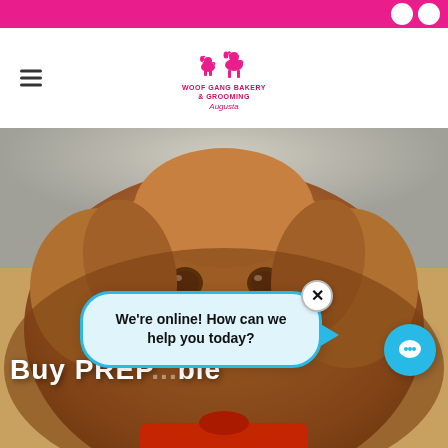Top navigation bar with location and phone icons
[Figure (logo): Woof Gang Bakery & Grooming logo with two dog silhouettes and text 'WOOF GANG BAKERY & GROOMING Augusta']
[Figure (photo): Close-up photo of a golden retriever dog with reddish-brown fur looking at the camera]
Buy PREPA... ble
We're online! How can we help you today?